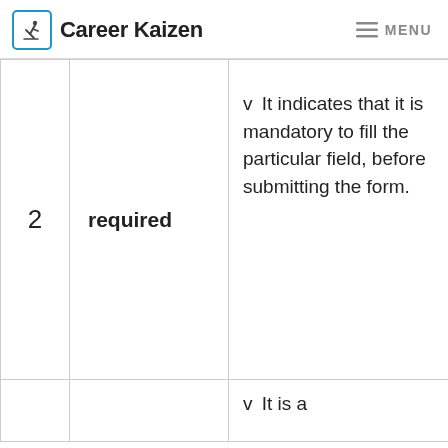Career Kaizen  MENU
| # | Attribute | Description |
| --- | --- | --- |
| 2 | required | v  It indicates that it is mandatory to fill the particular field, before submitting the form. |
|  |  | v  It is a |